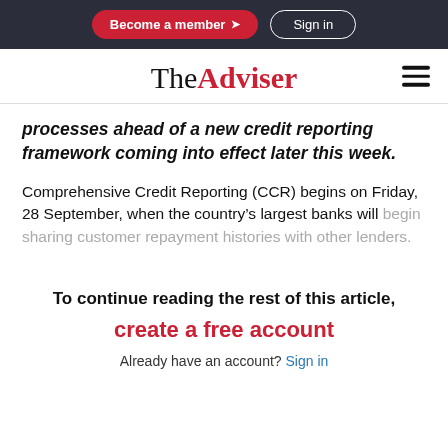Become a member | Sign in
TheAdviser
processes ahead of a new credit reporting framework coming into effect later this week.
Comprehensive Credit Reporting (CCR) begins on Friday, 28 September, when the country’s largest banks will begin sharing customer repayment histories with other lenders.
To continue reading the rest of this article, create a free account
Already have an account? Sign in